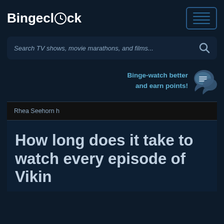Bingeclock
Search TV shows, movie marathons, and films...
Binge-watch better and earn points!
Rhea Seehorn h
How long does it take to watch every episode of Vikings?